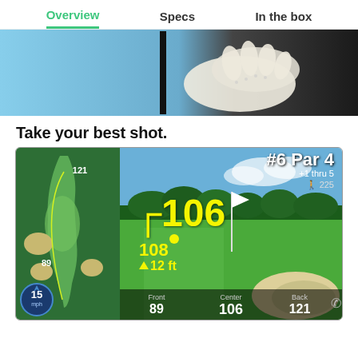Overview  Specs  In the box
[Figure (photo): Hero photo showing a golfer's gloved hand holding a GPS device against a blue sky background]
Take your best shot.
[Figure (screenshot): GPS golf rangefinder screenshot showing hole #6 Par 4, +1 thru 5, distance 225. Map view on left shows fairway with distances 121 and 89. Main view shows center distance 106 yards in yellow, dot marker, 108 below, elevation triangle 12 ft. Bottom bar shows Front 89, Center 106, Back 121. Wind badge shows 15 mph.]